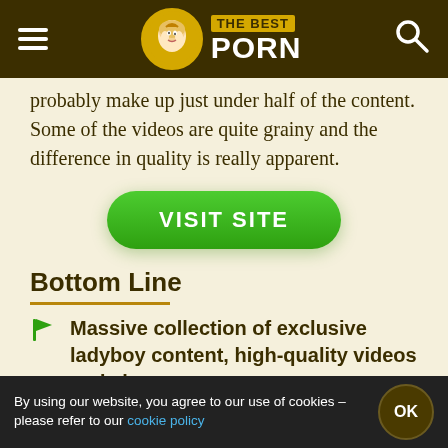THE BEST PORN
probably make up just under half of the content. Some of the videos are quite grainy and the difference in quality is really apparent.
[Figure (other): Green VISIT SITE button]
Bottom Line
Massive collection of exclusive ladyboy content, high-quality videos and always
By using our website, you agree to our use of cookies – please refer to our cookie policy